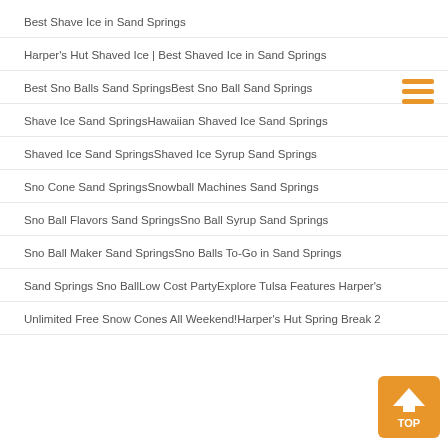Best Shave Ice in Sand Springs
Harper's Hut Shaved Ice | Best Shaved Ice in Sand Springs
Best Sno Balls Sand SpringsBest Sno Ball Sand Springs
Shave Ice Sand SpringsHawaiian Shaved Ice Sand Springs
Shaved Ice Sand SpringsShaved Ice Syrup Sand Springs
Sno Cone Sand SpringsSnowball Machines Sand Springs
Sno Ball Flavors Sand SpringsSno Ball Syrup Sand Springs
Sno Ball Maker Sand SpringsSno Balls To-Go in Sand Springs
Sand Springs Sno BallLow Cost PartyExplore Tulsa Features Harper's
Unlimited Free Snow Cones All Weekend!Harper's Hut Spring Break 2